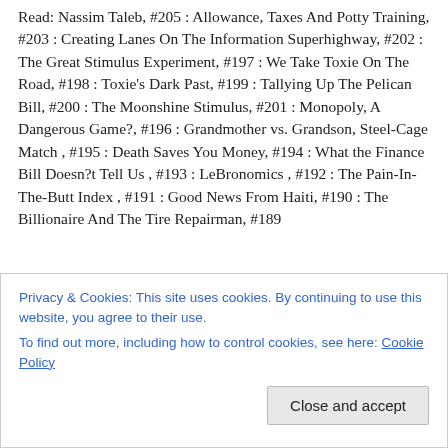Read: Nassim Taleb, #205 : Allowance, Taxes And Potty Training, #203 : Creating Lanes On The Information Superhighway, #202 : The Great Stimulus Experiment, #197 : We Take Toxie On The Road, #198 : Toxie's Dark Past, #199 : Tallying Up The Pelican Bill, #200 : The Moonshine Stimulus, #201 : Monopoly, A Dangerous Game?, #196 : Grandmother vs. Grandson, Steel-Cage Match , #195 : Death Saves You Money, #194 : What the Finance Bill Doesn?t Tell Us , #193 : LeBronomics , #192 : The Pain-In-The-Butt Index , #191 : Good News From Haiti, #190 : The Billionaire And The Tire Repairman, #189
Privacy & Cookies: This site uses cookies. By continuing to use this website, you agree to their use.
To find out more, including how to control cookies, see here: Cookie Policy
Close and accept